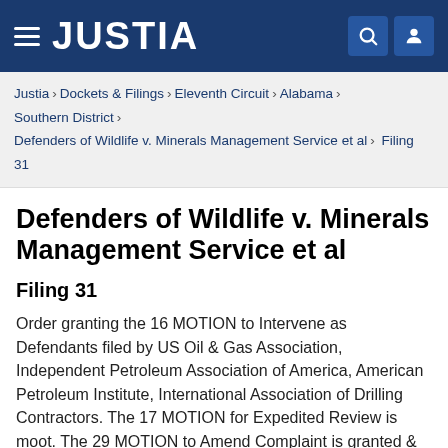JUSTIA
Justia › Dockets & Filings › Eleventh Circuit › Alabama › Southern District › Defenders of Wildlife v. Minerals Management Service et al › Filing 31
Defenders of Wildlife v. Minerals Management Service et al
Filing 31
Order granting the 16 MOTION to Intervene as Defendants filed by US Oil & Gas Association, Independent Petroleum Association of America, American Petroleum Institute, International Association of Drilling Contractors. The 17 MOTION for Expedited Review is moot. The 29 MOTION to Amend Complaint is granted & plaintiff is ordered by 8/16/2010 to file its